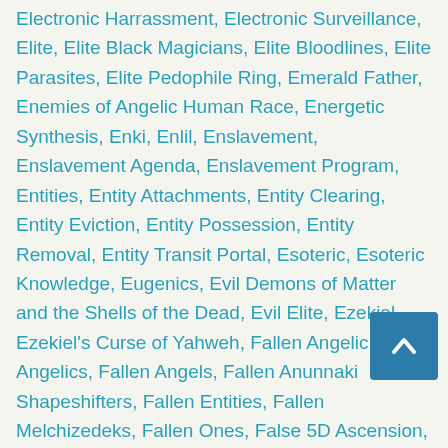Electronic Harrassment, Electronic Surveillance, Elite, Elite Black Magicians, Elite Bloodlines, Elite Parasites, Elite Pedophile Ring, Emerald Father, Enemies of Angelic Human Race, Energetic Synthesis, Enki, Enlil, Enslavement, Enslavement Agenda, Enslavement Program, Entities, Entity Attachments, Entity Clearing, Entity Eviction, Entity Possession, Entity Removal, Entity Transit Portal, Esoteric, Esoteric Knowledge, Eugenics, Evil Demons of Matter and the Shells of the Dead, Evil Elite, Ezekiel, Ezekiel's Curse of Yahweh, Fallen Angelic, Fallen Angelics, Fallen Angels, Fallen Anunnaki Shapeshifters, Fallen Entities, Fallen Melchizedeks, Fallen Ones, False 5D Ascension, False 5D Ascension Programs, False 5D Ascension Timeline, False Alien Gods, False Ascended Master, False Ascended Master Ashtar Sheran, False Ascended Master Sananda, False Ascended Master St. Germain, False Ascended Masters, False Ascension, False Ascension Matrix, False Ascension Timelines, False Beliefs, False Benevolent ETs, False Channeled Messages, False Christ Consciousness, False Father, False Father Gods, False